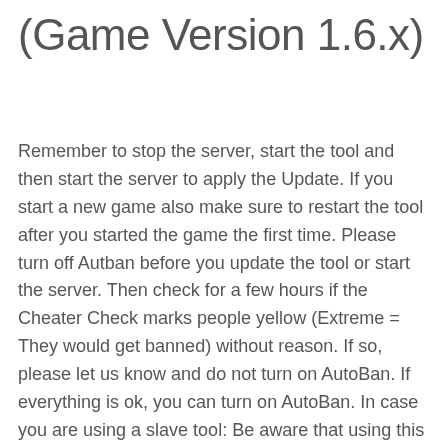(Game Version 1.6.x)
Remember to stop the server, start the tool and then start the server to apply the Update. If you start a new game also make sure to restart the tool after you started the game the first time. Please turn off Autban before you update the tool or start the server. Then check for a few hours if the Cheater Check marks people yellow (Extreme = They would get banned) without reason. If so, please let us know and do not turn on AutoBan. If everything is ok, you can turn on AutoBan. In case you are using a slave tool: Be aware that using this version only works if you update master and slave! This Version will be available over steam and via manual download.